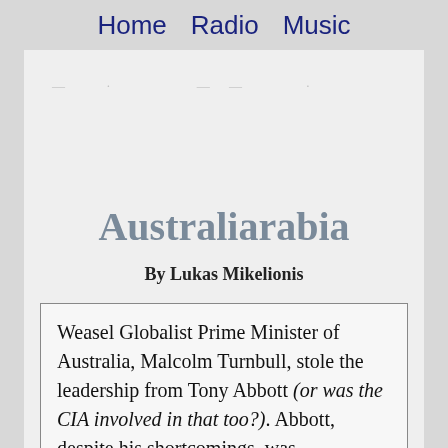Home   Radio   Music
Australiarabia
By Lukas Mikelionis
Weasel Globalist Prime Minister of Australia, Malcolm Turnbull, stole the leadership from Tony Abbott (or was the CIA involved in that too?). Abbott, despite his shortcomings, was